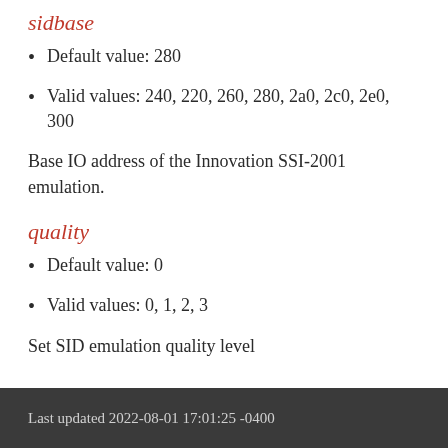sidbase
Default value: 280
Valid values: 240, 220, 260, 280, 2a0, 2c0, 2e0, 300
Base IO address of the Innovation SSI-2001 emulation.
quality
Default value: 0
Valid values: 0, 1, 2, 3
Set SID emulation quality level
Last updated 2022-08-01 17:01:25 -0400